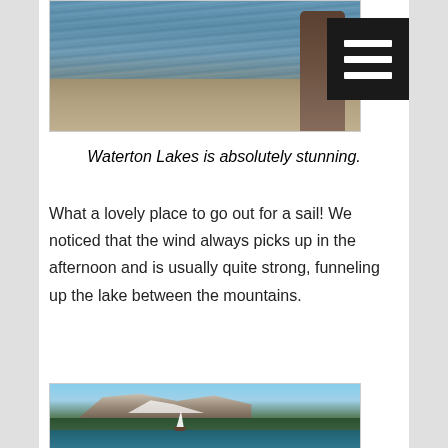[Figure (photo): Close-up photo of water and rocky/sandy shore near a tree trunk at Waterton Lakes]
Waterton Lakes is absolutely stunning.
What a lovely place to go out for a sail! We noticed that the wind always picks up in the afternoon and is usually quite strong, funneling up the lake between the mountains.
[Figure (photo): Sailboat on Waterton Lake with dramatic Rocky Mountain peaks and forested slopes in background under blue sky]